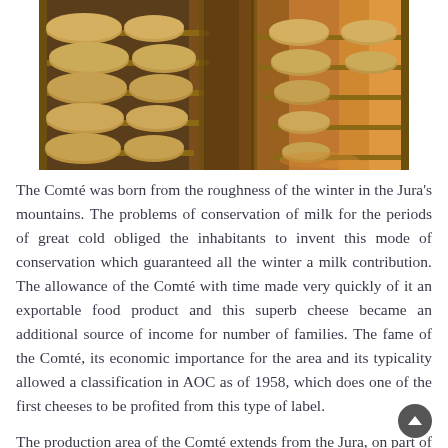[Figure (photo): A cellar or aging room filled with large round wheels of Comté cheese stacked on wooden shelves on both sides, with warm amber lighting visible in the background perspective.]
The Comté was born from the roughness of the winter in the Jura's mountains. The problems of conservation of milk for the periods of great cold obliged the inhabitants to invent this mode of conservation which guaranteed all the winter a milk contribution. The allowance of the Comté with time made very quickly of it an exportable food product and this superb cheese became an additional source of income for number of families. The fame of the Comté, its economic importance for the area and its typicality allowed a classification in AOC as of 1958, which does one of the first cheeses to be profited from this type of label.
The production area of the Comté extends from the Jura, on part of Doubs and a small portion of Ain. Milk used comes exclusively from cow of Montbéliard race. It must be